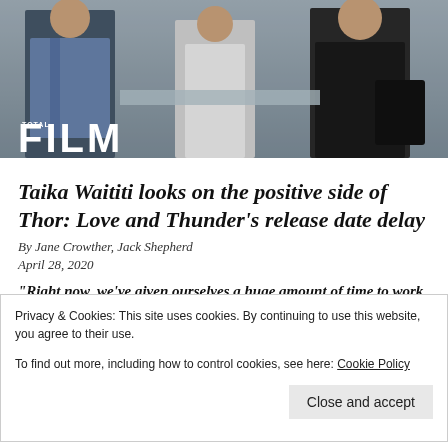[Figure (photo): A film set or office scene with several people standing, including someone in a denim jacket and a person in a black outfit holding a bag. The Total Film logo is visible in the lower left.]
Taika Waititi looks on the positive side of Thor: Love and Thunder's release date delay
By Jane Crowther, Jack Shepherd
April 28, 2020
“Right now, we’ve given ourselves a huge amount of time to work on all sort of things, so we may as well use it”
Privacy & Cookies: This site uses cookies. By continuing to use this website, you agree to their use.
To find out more, including how to control cookies, see here: Cookie Policy